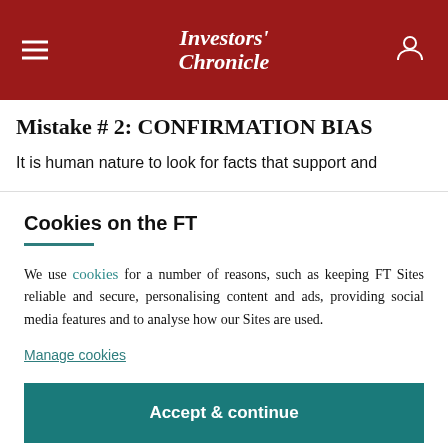Investors' Chronicle
Mistake # 2: CONFIRMATION BIAS
It is human nature to look for facts that support and
Cookies on the FT
We use cookies for a number of reasons, such as keeping FT Sites reliable and secure, personalising content and ads, providing social media features and to analyse how our Sites are used.
Manage cookies
Accept & continue